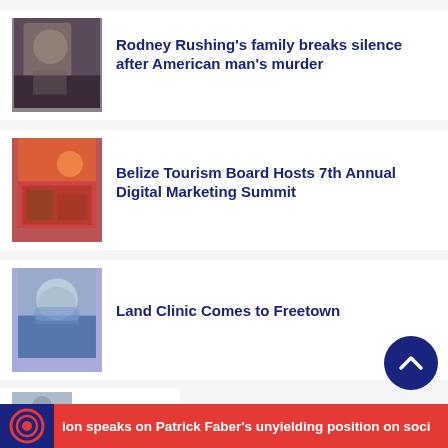[Figure (photo): Thumbnail image of a person, dark tones]
Rodney Rushing’s family breaks silence after American man’s murder
[Figure (photo): Thumbnail image of a group meeting or event]
Belize Tourism Board Hosts 7th Annual Digital Marketing Summit
[Figure (photo): Thumbnail image of a masked man]
Land Clinic Comes to Freetown
[Figure (photo): Partial thumbnail, partially visible]
ion speaks on Patrick Faber’s unyielding position on soci…